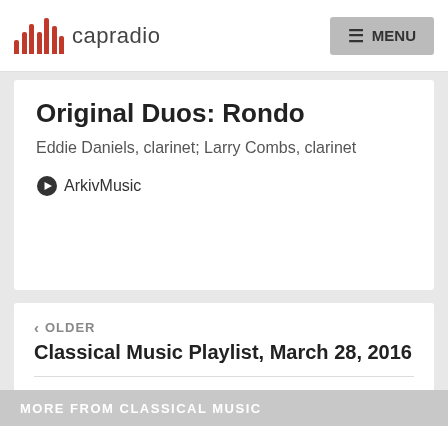capradio | MENU
Original Duos: Rondo
Eddie Daniels, clarinet; Larry Combs, clarinet
ArkivMusic
< OLDER
Classical Music Playlist, March 28, 2016
NEWER >
Classical Music Playlist, March 30, 2016
MORE FROM CLASSICAL MUSIC